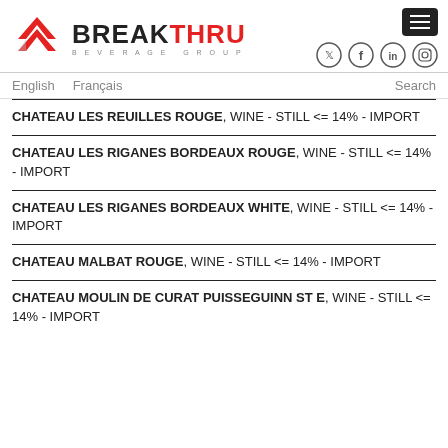[Figure (logo): Breakthru Beverage Group logo with red triangle/chevron icon and bold text BREAKTHRU in black and red, BEVERAGE GROUP subtitle]
English   Français   Search
CHATEAU LES REUILLES ROUGE, WINE - STILL <= 14% - IMPORT
CHATEAU LES RIGANES BORDEAUX ROUGE, WINE - STILL <= 14% - IMPORT
CHATEAU LES RIGANES BORDEAUX WHITE, WINE - STILL <= 14% - IMPORT
CHATEAU MALBAT ROUGE, WINE - STILL <= 14% - IMPORT
CHATEAU MOULIN DE CURAT PUISSEGUINN ST E, WINE - STILL <= 14% - IMPORT